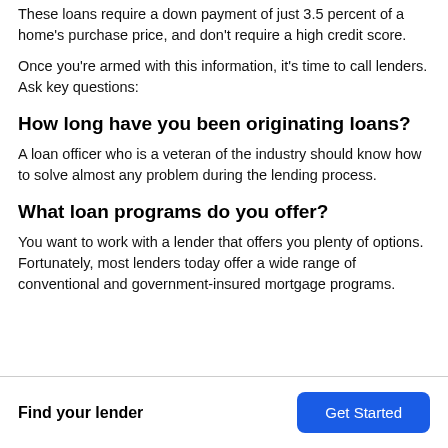These loans require a down payment of just 3.5 percent of a home's purchase price, and don't require a high credit score.
Once you're armed with this information, it's time to call lenders. Ask key questions:
How long have you been originating loans?
A loan officer who is a veteran of the industry should know how to solve almost any problem during the lending process.
What loan programs do you offer?
You want to work with a lender that offers you plenty of options. Fortunately, most lenders today offer a wide range of conventional and government-insured mortgage programs.
Find your lender | Get Started